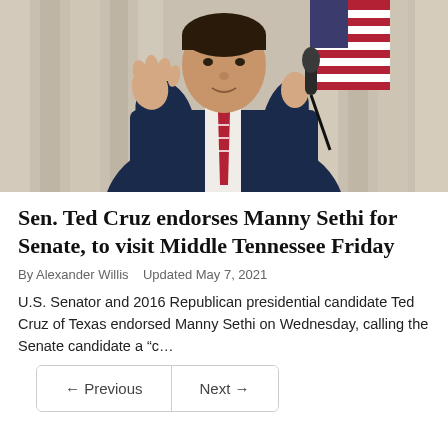[Figure (photo): A man in a dark navy suit and red striped tie holds a microphone and gestures with one hand. An American flag is visible in the background along with light curtains.]
Sen. Ted Cruz endorses Manny Sethi for Senate, to visit Middle Tennessee Friday
By Alexander Willis   Updated May 7, 2021
U.S. Senator and 2016 Republican presidential candidate Ted Cruz of Texas endorsed Manny Sethi on Wednesday, calling the Senate candidate a “c...